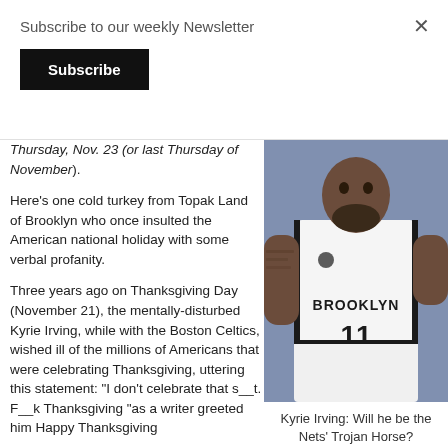Subscribe to our weekly Newsletter
Subscribe
Thursday, Nov. 23 (or last Thursday of November).
Here's one cold turkey from Topak Land of Brooklyn who once insulted the American national holiday with some verbal profanity.
Three years ago on Thanksgiving Day (November 21), the mentally-disturbed Kyrie Irving, while with the Boston Celtics, wished ill of the millions of Americans that were celebrating Thanksgiving, uttering this statement: “I don’t celebrate that s__t. F__k Thanksgiving “as a writer greeted him Happy Thanksgiving
[Figure (photo): Kyrie Irving wearing Brooklyn Nets jersey number 11 during a game]
Kyrie Irving: Will he be the Nets’ Trojan Horse?